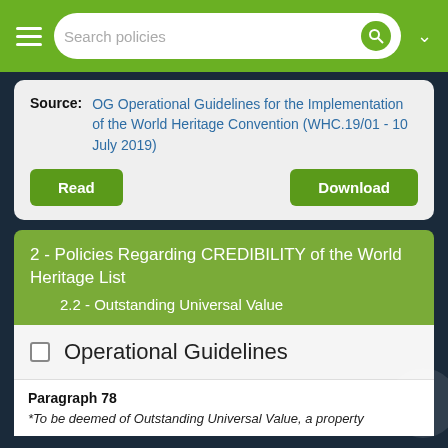Search policies
Source: OG Operational Guidelines for the Implementation of the World Heritage Convention (WHC.19/01 - 10 July 2019)
Read | Download
2 - Policies Regarding CREDIBILITY of the World Heritage List
2.2 - Outstanding Universal Value
Operational Guidelines
Paragraph 78
*To be deemed of Outstanding Universal Value, a property